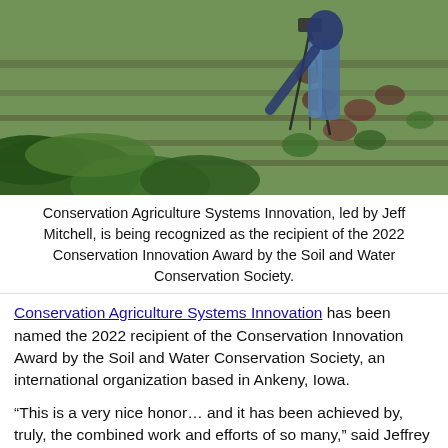[Figure (photo): Person bending over large leafy plants in an agricultural field with a camera tripod nearby; rows of green and dark-red lettuces in background]
Conservation Agriculture Systems Innovation, led by Jeff Mitchell, is being recognized as the recipient of the 2022 Conservation Innovation Award by the Soil and Water Conservation Society.
Conservation Agriculture Systems Innovation has been named the 2022 recipient of the Conservation Innovation Award by the Soil and Water Conservation Society, an international organization based in Ankeny, Iowa.
“This is a very nice honor… and it has been achieved by, truly, the combined work and efforts of so many,” said Jeffrey P. Mitchell, UC Cooperative Extension specialist in UC Davis Department of Plant Sciences, who helped found CASI and has been instrumental in its leadership.
CASI, part of UC Agriculture and Natural Resources, started in 1998. It was formed by farmers, scientists and representatives of public